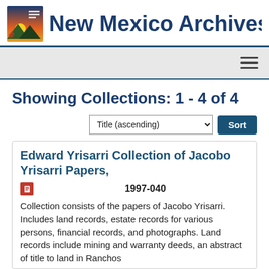New Mexico Archive
Showing Collections: 1 - 4 of 4
Title (ascending) Sort
Edward Yrisarri Collection of Jacobo Yrisarri Papers,
1997-040
Collection consists of the papers of Jacobo Yrisarri. Includes land records, estate records for various persons, financial records, and photographs. Land records include mining and warranty deeds, an abstract of title to land in Ranchos